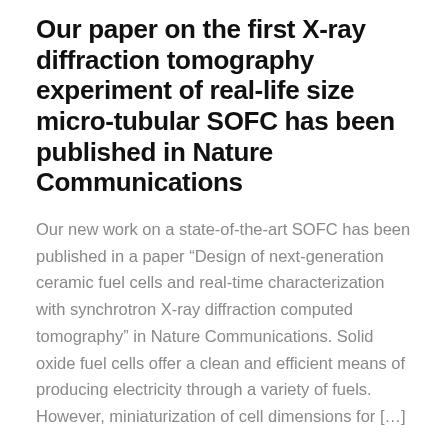Our paper on the first X-ray diffraction tomography experiment of real-life size micro-tubular SOFC has been published in Nature Communications
Our new work on a state-of-the-art SOFC has been published in a paper “Design of next-generation ceramic fuel cells and real-time characterization with synchrotron X-ray diffraction computed tomography” in Nature Communications. Solid oxide fuel cells offer a clean and efficient means of producing electricity through a variety of fuels. However, miniaturization of cell dimensions for […]
READ MORE
Tomographic software nDTomo